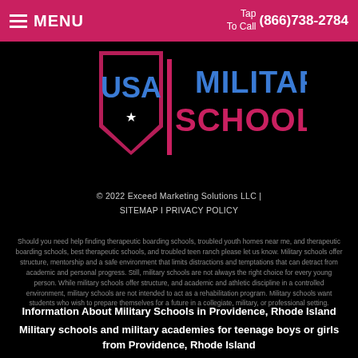MENU | Tap To Call (866)738-2784
[Figure (logo): USA Military Schools logo with blue and pink lettering on black background]
© 2022 Exceed Marketing Solutions LLC | SITEMAP I PRIVACY POLICY
Should you need help finding therapeutic boarding schools, troubled youth homes near me, and therapeutic boarding schools, best therapeutic schools, and troubled teen ranch please let us know. Military schools offer structure, mentorship and a safe environment that limits distractions and temptations that can detract from academic and personal progress. Still, military schools are not always the right choice for every young person. While military schools offer structure, and academic and athletic discipline in a controlled environment, military schools are not intended to act as a rehabilitation program. Military schools want students who wish to prepare themselves for a future in a collegiate, military, or professional setting.
Information About Military Schools in Providence, Rhode Island
Military schools and military academies for teenage boys or girls from Providence, Rhode Island